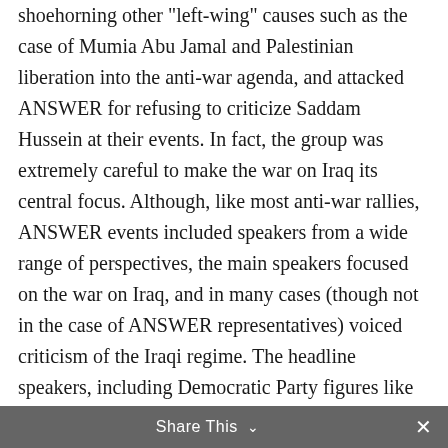shoehorning other "left-wing" causes such as the case of Mumia Abu Jamal and Palestinian liberation into the anti-war agenda, and attacked ANSWER for refusing to criticize Saddam Hussein at their events. In fact, the group was extremely careful to make the war on Iraq its central focus. Although, like most anti-war rallies, ANSWER events included speakers from a wide range of perspectives, the main speakers focused on the war on Iraq, and in many cases (though not in the case of ANSWER representatives) voiced criticism of the Iraqi regime. The headline speakers, including Democratic Party figures like Jesse Jackson and Barbara Lee as well as Hollywood liberals such as Jessica Lange, could hardly be
Share This